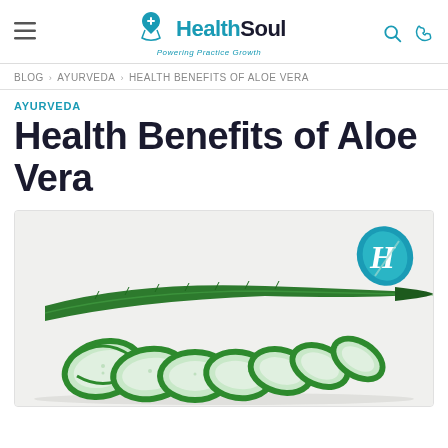HealthSoul - Powering Practice Growth
BLOG > AYURVEDA > HEALTH BENEFITS OF ALOE VERA
AYURVEDA
Health Benefits of Aloe Vera
[Figure (photo): Sliced aloe vera plant showing cross-sections of the leaves with gel visible, arranged on a white background with a HealthSoul logo watermark in the upper right corner]